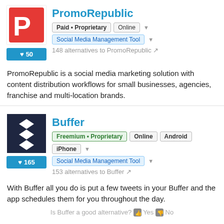PromoRepublic
Paid • Proprietary  Online  Social Media Management Tool  148 alternatives to PromoRepublic
PromoRepublic is a social media marketing solution with content distribution workflows for small businesses, agencies, franchise and multi-location brands.
Buffer
Freemium • Proprietary  Online  Android  iPhone  Social Media Management Tool  153 alternatives to Buffer
With Buffer all you do is put a few tweets in your Buffer and the app schedules them for you throughout the day.
Is Buffer a good alternative? 👍 Yes 👎 No